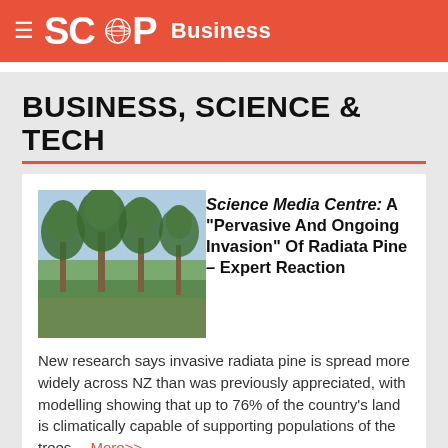SCOOP Business
BUSINESS, SCIENCE & TECH
[Figure (photo): Radiata pine trees in a field, outdoor photograph]
Science Media Centre: A “Pervasive And Ongoing Invasion” Of Radiata Pine – Expert Reaction
New research says invasive radiata pine is spread more widely across NZ than was previously appreciated, with modelling showing that up to 76% of the country’s land is climatically capable of supporting populations of the trees... More>>